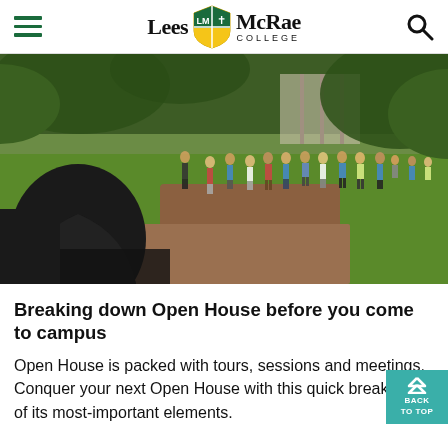Lees McRae College
[Figure (photo): Campus tour photo showing a bronze statue in the foreground from behind, with a large group of people on a campus garden path surrounded by trees and green lawn.]
Breaking down Open House before you come to campus
Open House is packed with tours, sessions and meetings. Conquer your next Open House with this quick breakdown of its most-important elements.